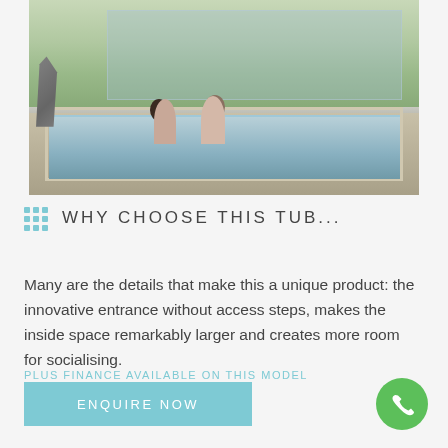[Figure (photo): Couple sitting in an outdoor hot tub/pool at a luxury property with glass-walled building in background and gym equipment visible to the left]
WHY CHOOSE THIS TUB...
Many are the details that make this a unique product: the innovative entrance without access steps, makes the inside space remarkably larger and creates more room for socialising.
PLUS FINANCE AVAILABLE ON THIS MODEL
ENQUIRE NOW